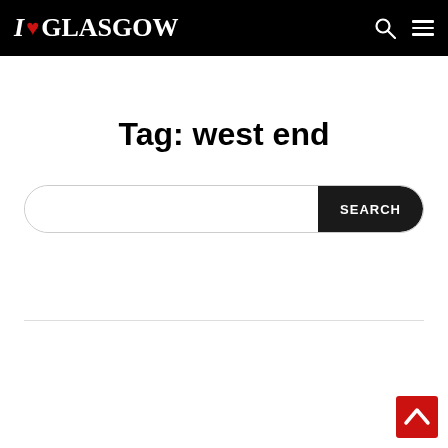I ♥ GLASGOW
Tag: west end
SEARCH